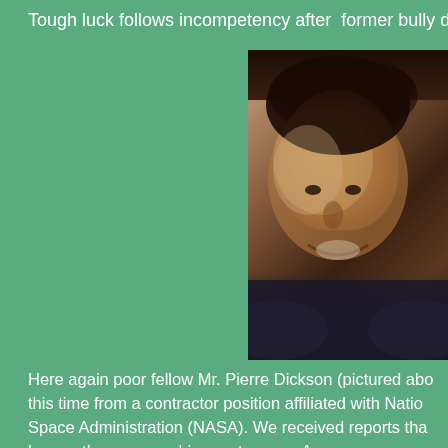Tough luck follows incompetency after  former bully dire
[Figure (photo): A photograph of a man (Mr. Pierre Dickson), close-up portrait, dark background, partial view cropped on the right side.]
Here again poor fellow Mr. Pierre Dickson (pictured abo this time from a contractor position affiliated with Natio Space Administration (NASA). We received reports tha harass the moon on his way to mars. Anyway, on a mo for an old dog to learn new tricks. Mr. Dickson has ma